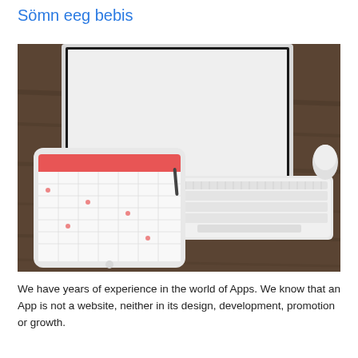Sömn eeg bebis
[Figure (photo): Desk scene showing an Apple iMac monitor, an iPad with a calendar app open, an Apple Magic Keyboard, and a Magic Mouse on a wooden desk surface.]
We have years of experience in the world of Apps. We know that an App is not a website, neither in its design, development, promotion or growth.